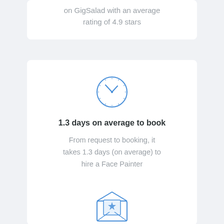on GigSalad with an average rating of 4.9 stars
[Figure (illustration): Blue clock icon with dots around the face and hands pointing to approximately 10:10]
1.3 days on average to book
From request to booking, it takes 1.3 days (on average) to hire a Face Painter
[Figure (illustration): Blue envelope icon with a star on the letter inside, open envelope]